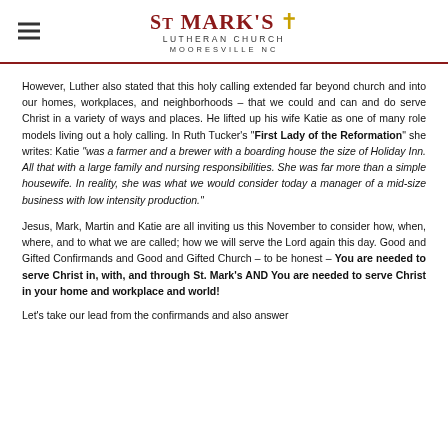St. Mark's Lutheran Church Mooresville NC
However, Luther also stated that this holy calling extended far beyond church and into our homes, workplaces, and neighborhoods – that we could and can and do serve Christ in a variety of ways and places. He lifted up his wife Katie as one of many role models living out a holy calling. In Ruth Tucker's "First Lady of the Reformation" she writes: Katie "was a farmer and a brewer with a boarding house the size of Holiday Inn. All that with a large family and nursing responsibilities. She was far more than a simple housewife. In reality, she was what we would consider today a manager of a mid-size business with low intensity production."
Jesus, Mark, Martin and Katie are all inviting us this November to consider how, when, where, and to what we are called; how we will serve the Lord again this day. Good and Gifted Confirmands and Good and Gifted Church – to be honest – You are needed to serve Christ in, with, and through St. Mark's AND You are needed to serve Christ in your home and workplace and world!
Let's take our lead from the confirmands and also answer...